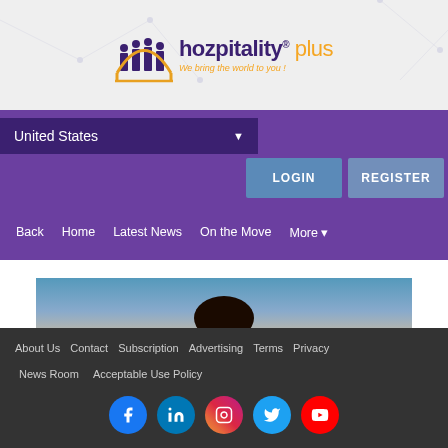[Figure (logo): Hozpitality Plus logo with icon of people and text 'hozpitality plus - We bring the world to you!']
United States
LOGIN   REGISTER
Back   Home   Latest News   On the Move   More
[Figure (photo): Photo of a man's face partially visible from the top, with sky and clouds background]
About Us   Contact   Subscription   Advertising   Terms   Privacy   News Room   Acceptable Use Policy
[Figure (infographic): Social media icons: Facebook, LinkedIn, Instagram, Twitter, YouTube]